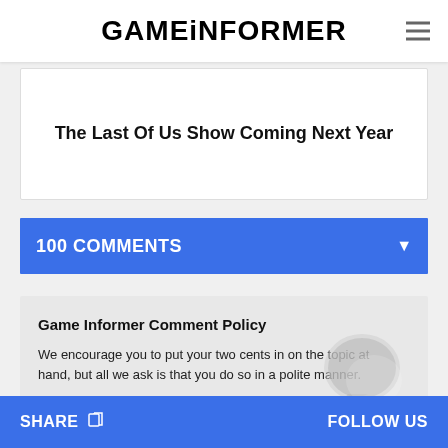GAMEINFORMER
The Last Of Us Show Coming Next Year
100 COMMENTS
Game Informer Comment Policy
We encourage you to put your two cents in on the topic at hand, but all we ask is that you do so in a polite manner.
Please read our Comment Policy before commenting.
SHARE  FOLLOW US